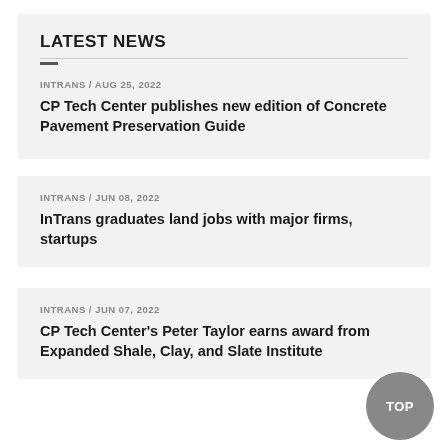LATEST NEWS
INTRANS / AUG 25, 2022 — CP Tech Center publishes new edition of Concrete Pavement Preservation Guide
INTRANS / JUN 08, 2022 — InTrans graduates land jobs with major firms, startups
INTRANS / JUN 07, 2022 — CP Tech Center's Peter Taylor earns award from Expanded Shale, Clay, and Slate Institute